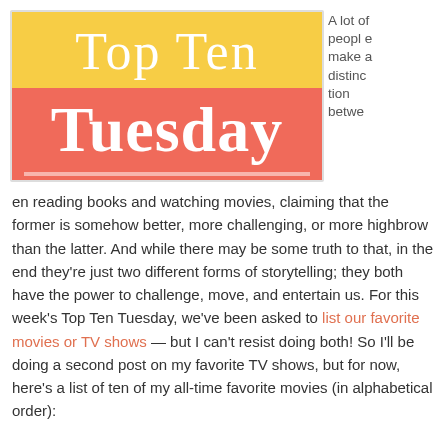[Figure (logo): Top Ten Tuesday logo: yellow top half with 'Top Ten' in white serif font, coral/salmon bottom half with 'Tuesday' in large white bold serif font, white stripe at bottom]
A lot of people make a distinction between reading books and watching movies, claiming that the former is somehow better, more challenging, or more highbrow than the latter. And while there may be some truth to that, in the end they're just two different forms of storytelling; they both have the power to challenge, move, and entertain us. For this week's Top Ten Tuesday, we've been asked to list our favorite movies or TV shows — but I can't resist doing both! So I'll be doing a second post on my favorite TV shows, but for now, here's a list of ten of my all-time favorite movies (in alphabetical order):